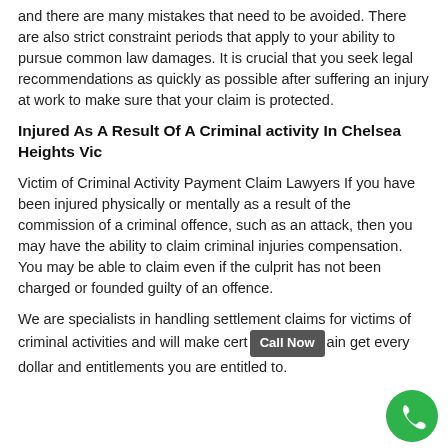and there are many mistakes that need to be avoided. There are also strict constraint periods that apply to your ability to pursue common law damages. It is crucial that you seek legal recommendations as quickly as possible after suffering an injury at work to make sure that your claim is protected.
Injured As A Result Of A Criminal activity In Chelsea Heights Vic
Victim of Criminal Activity Payment Claim Lawyers If you have been injured physically or mentally as a result of the commission of a criminal offence, such as an attack, then you may have the ability to claim criminal injuries compensation. You may be able to claim even if the culprit has not been charged or founded guilty of an offence.
We are specialists in handling settlement claims for victims of criminal activities and will make certain get every dollar and entitlements you are entitled to.